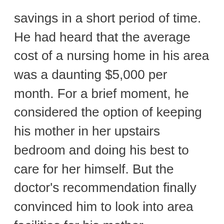savings in a short period of time.  He had heard that the average cost of a nursing home in his area was a daunting $5,000 per month.  For a brief moment, he considered the option of keeping his mother in her upstairs bedroom and doing his best to care for her himself.  But the doctor's recommendation finally convinced him to look into area facilities for his mother.
At one of the first nursing homes he visited, a social worker asked Norman if he had looked into Medicaid coverage for his mother.  She correctly informed him that, if his mother